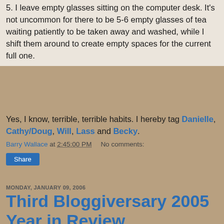5. I leave empty glasses sitting on the computer desk. It's not uncommon for there to be 5-6 empty glasses of tea waiting patiently to be taken away and washed, while I shift them around to create empty spaces for the current full one.
Yes, I know, terrible, terrible habits. I hereby tag Danielle, Cathy/Doug, Will, Lass and Becky.
Barry Wallace at 2:45:00 PM   No comments:
Share
MONDAY, JANUARY 09, 2006
Third Bloggiversary 2005 Year in Review
Three years ago, I started my blog and the Inn of the Last Home was born. The past two years I have published a list